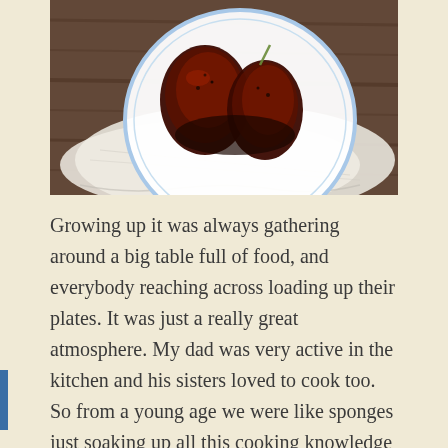[Figure (photo): Overhead photo of glazed meat or ribs on a white plate with blue rim, sitting on a white linen cloth over a wooden surface. The food appears dark, sticky and saucy.]
Growing up it was always gathering around a big table full of food, and everybody reaching across loading up their plates. It was just a really great atmosphere. My dad was very active in the kitchen and his sisters loved to cook too. So from a young age we were like sponges just soaking up all this cooking knowledge and the Food Network.